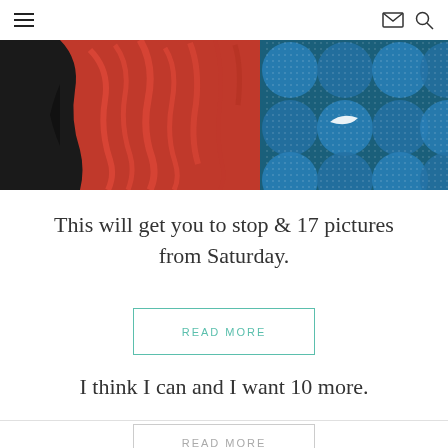Navigation bar with hamburger menu, mail icon, and search icon
[Figure (photo): Close-up photo of athletic clothing: black jacket on left, red/coral crumpled fabric in center, blue Nike patterned fabric with circular design on right]
This will get you to stop & 17 pictures from Saturday.
READ MORE
I think I can and I want 10 more.
READ MORE